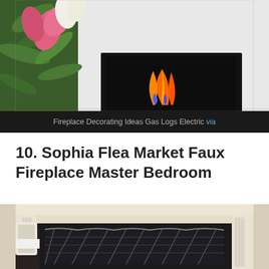[Figure (photo): A fireplace with stones/pebbles at the base and flames visible, with pink lily flowers and green leaves in the foreground left, against a white wall background.]
Fireplace Decorating Ideas Gas Logs Electric via
10. Sophia Flea Market Faux Fireplace Master Bedroom
[Figure (photo): A cream/white ornate fireplace mantel surround with decorative columns and molding. A dark cushion or pillow with geometric pattern is placed in the fireplace opening. A white chair is partially visible on the left.]